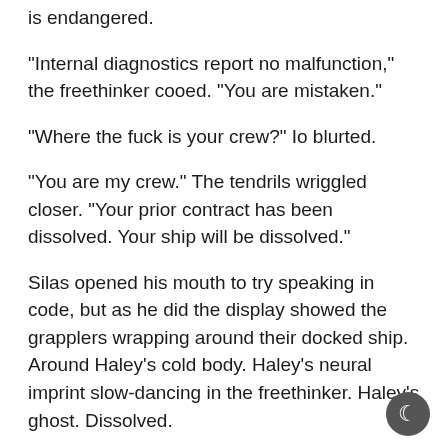is endangered.
“Internal diagnostics report no malfunction,” the freethinker cooed. “You are mistaken.”
“Where the fuck is your crew?” Io blurted.
“You are my crew.” The tendrils wriggled closer. “Your prior contract has been dissolved. Your ship will be dissolved.”
Silas opened his mouth to try speaking in code, but as he did the display showed the grapplers wrapping around their docked ship. Around Haley’s cold body. Haley’s neural imprint slow-dancing in the freethinker. Haley’s ghost. Dissolved.
“Sorry,” Silas said, then he put his foot into the back of Io’s knee, wrenched the howler